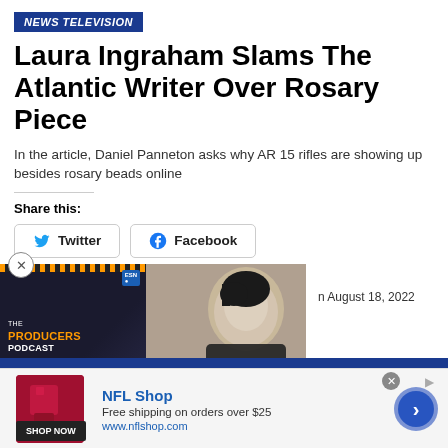NEWS TELEVISION
Laura Ingraham Slams The Atlantic Writer Over Rosary Piece
In the article, Daniel Panneton asks why AR 15 rifles are showing up besides rosary beads online
Share this:
Twitter
Facebook
August 18, 2022
[Figure (screenshot): Video thumbnail showing The Producers Podcast with ESN logo and a person's photo, with a play button overlay]
[Figure (infographic): NFL Shop advertisement with red product image, shop now button, and arrow navigation]